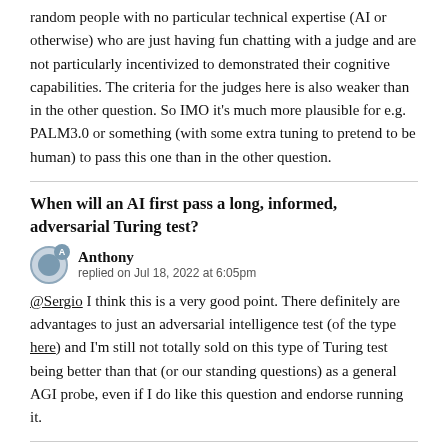random people with no particular technical expertise (AI or otherwise) who are just having fun chatting with a judge and are not particularly incentivized to demonstrated their cognitive capabilities. The criteria for the judges here is also weaker than in the other question. So IMO it's much more plausible for e.g. PALM3.0 or something (with some extra tuning to pretend to be human) to pass this one than in the other question.
When will an AI first pass a long, informed, adversarial Turing test?
Anthony replied on Jul 18, 2022 at 6:05pm
@Sergio I think this is a very good point. There definitely are advantages to just an adversarial intelligence test (of the type here) and I'm still not totally sold on this type of Turing test being better than that (or our standing questions) as a general AGI probe, even if I do like this question and endorse running it.
When will an AI first pass a long, informed, adversarial